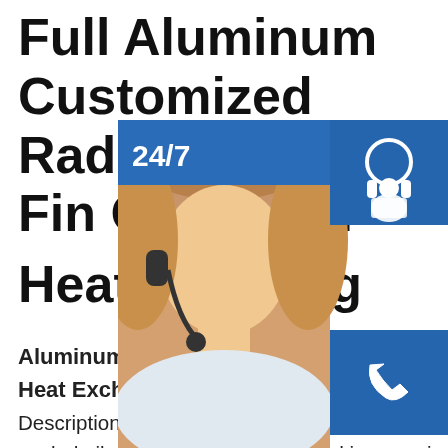Full Aluminum Customized Radiator Bar Plate Fin Oil Cooler Heat Exchanger
[Figure (photo): Customer service overlay widget panel showing a woman with a headset, '24/7' badge, phone icon button, Skype icon button, 'PROVIDE Empowering Customers' strip, and 'online live' button]
Aluminum Bar Plate Fin Core Heat Exchanger Radiator Description:It is part for water cooled heat exchanger. It can be used as water cooled oil cooler/air cooled . applied in many industries .it is key part of heat exchanger . water cooler Air fin height and pitch can be adjustable (fin height3-11mm,fin pitch 8-20FPI) . water channel